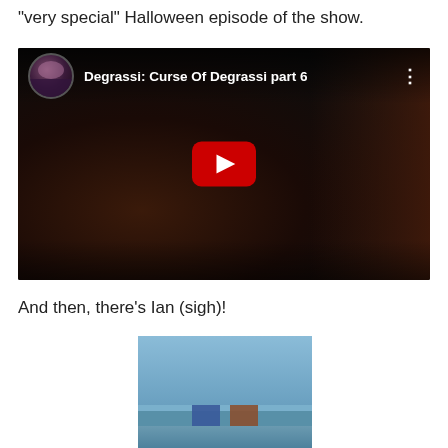“very special” Halloween episode of the show.
[Figure (screenshot): YouTube video embed showing 'Degrassi: Curse Of Degrassi part 6' with a dark background scene, channel avatar in top left, video title, and YouTube play button in center.]
And then, there’s Ian (sigh)!
[Figure (photo): Photo of a man and woman standing together outdoors against a blue sky background.]